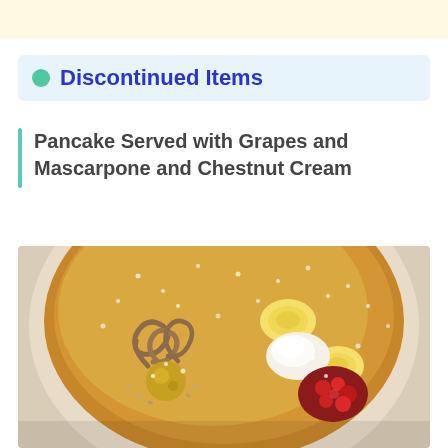Discontinued Items
Pancake Served with Grapes and Mascarpone and Chestnut Cream
[Figure (photo): A pancake served on a white plate, topped with powdered sugar, chestnut cream piped in a swirl, a whole preserved fruit, banana slices, red berry compote, and a scoop of mascarpone cream.]